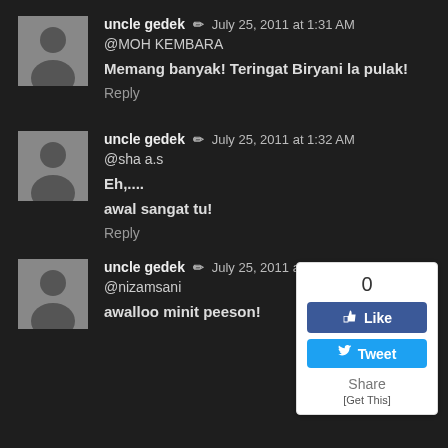[Figure (photo): Avatar photo of user uncle gedek - man with beard in dark clothing]
uncle gedek ✏ July 25, 2011 at 1:31 AM
@MOH KEMBARA
Memang banyak! Teringat Biryani la pulak!
Reply
[Figure (photo): Avatar photo of user uncle gedek - man with beard in dark clothing]
uncle gedek ✏ July 25, 2011 at 1:32 AM
@sha a.s
Eh,....
awal sangat tu!
Reply
[Figure (screenshot): Social sharing widget with Like button (count: 0), Tweet button, Share label, and [Get This] link]
[Figure (photo): Avatar photo of user uncle gedek - man with beard in dark clothing]
uncle gedek ✏ July 25, 2011 at 1:32 AM
@nizamsani
awalloo minit peeson!